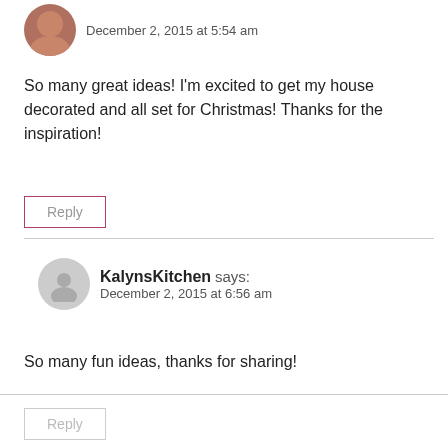December 2, 2015 at 5:54 am
So many great ideas! I'm excited to get my house decorated and all set for Christmas! Thanks for the inspiration!
Reply
KalynsKitchen says: December 2, 2015 at 6:56 am
So many fun ideas, thanks for sharing!
Reply